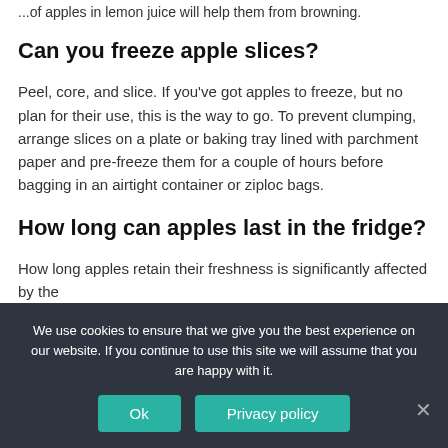...of apples in lemon juice will help them from browning.
Can you freeze apple slices?
Peel, core, and slice. If you've got apples to freeze, but no plan for their use, this is the way to go. To prevent clumping, arrange slices on a plate or baking tray lined with parchment paper and pre-freeze them for a couple of hours before bagging in an airtight container or ziploc bags.
How long can apples last in the fridge?
How long apples retain their freshness is significantly affected by the
We use cookies to ensure that we give you the best experience on our website. If you continue to use this site we will assume that you are happy with it.